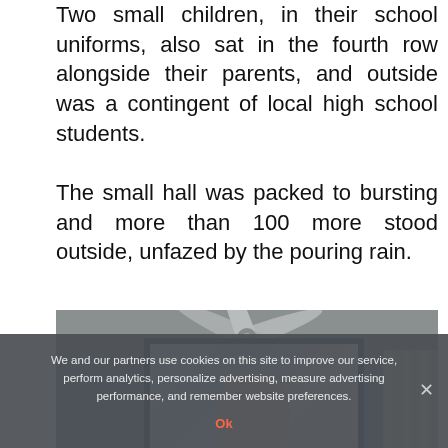Two small children, in their school uniforms, also sat in the fourth row alongside their parents, and outside was a contingent of local high school students.
The small hall was packed to bursting and more than 100 more stood outside, unfazed by the pouring rain.
[Figure (photo): A photo showing a television screen displaying a person's face, with a ceiling fan visible above and curtains on the right side of the room.]
We and our partners use cookies on this site to improve our service, perform analytics, personalize advertising, measure advertising performance, and remember website preferences.
Ok